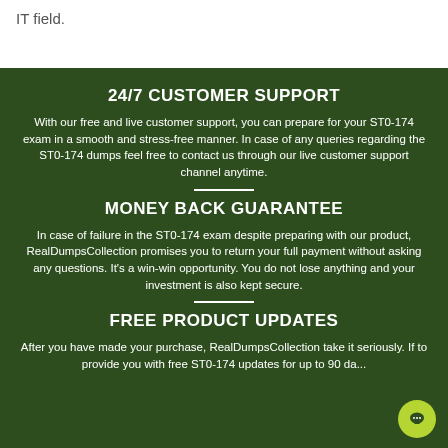IT field.
24/7 CUSTOMER SUPPORT
With our free and live customer support, you can prepare for your ST0-174 exam in a smooth and stress-free manner. In case of any queries regarding the ST0-174 dumps feel free to contact us through our live customer support channel anytime.
MONEY BACK GUARANTEE
In case of failure in the ST0-174 exam despite preparing with our product, RealDumpsCollection promises you to return your full payment without asking any questions. It's a win-win opportunity. You do not lose anything and your investment is also kept secure.
FREE PRODUCT UPDATES
After you have made your purchase, RealDumpsCollection take it seriously. If to provide you with free ST0-174 updates for up to 90 da...